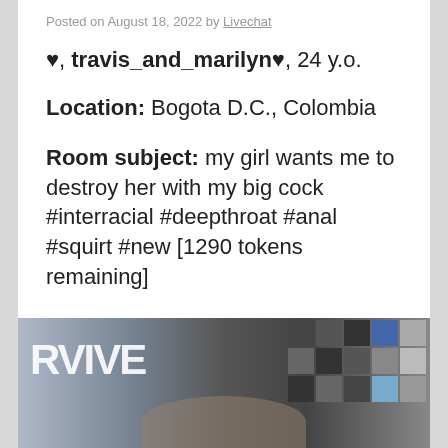Posted on August 18, 2022 by Livechat
♥, travis_and_marilyn♥, 24 y.o.
Location: Bogota D.C., Colombia
Room subject: my girl wants me to destroy her with my big cock #interracial #deepthroat #anal #squirt #new [1290 tokens remaining]
Watch Me Live
[Figure (photo): Collage of album covers including what appears to be Beatles albums and other vinyl records, partially visible with 'RVIVE' text on the left side]